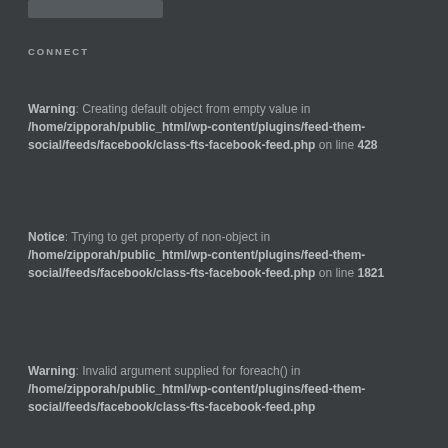CONNECT
Warning: Creating default object from empty value in /home/zipporah/public_html/wp-content/plugins/feed-them-social/feeds/facebook/class-fts-facebook-feed.php on line 428
Notice: Trying to get property of non-object in /home/zipporah/public_html/wp-content/plugins/feed-them-social/feeds/facebook/class-fts-facebook-feed.php on line 1821
Warning: Invalid argument supplied for foreach() in /home/zipporah/public_html/wp-content/plugins/feed-them-social/feeds/facebook/class-fts-facebook-feed.php